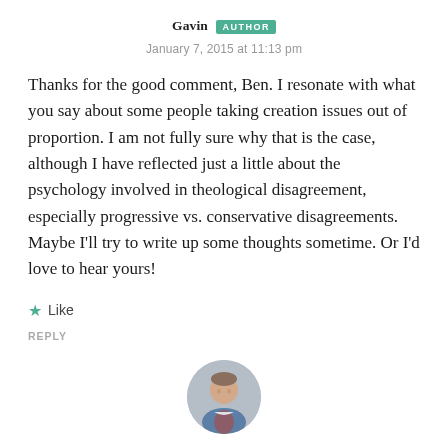Gavin AUTHOR
January 7, 2015 at 11:13 pm
Thanks for the good comment, Ben. I resonate with what you say about some people taking creation issues out of proportion. I am not fully sure why that is the case, although I have reflected just a little about the psychology involved in theological disagreement, especially progressive vs. conservative disagreements. Maybe I’ll try to write up some thoughts sometime. Or I’d love to hear yours!
★ Like
REPLY
[Figure (photo): Circular avatar photo of a man in a jacket]